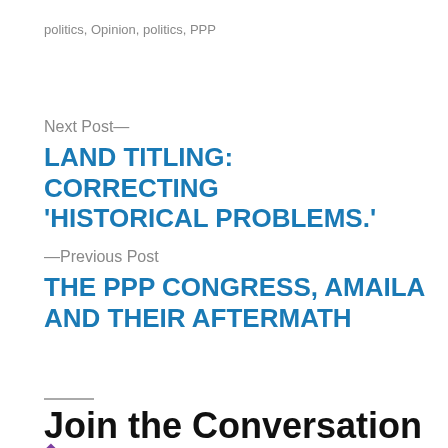politics, Opinion, politics, PPP
Next Post—
LAND TITLING: CORRECTING 'HISTORICAL PROBLEMS.'
—Previous Post
THE PPP CONGRESS, AMAILA AND THEIR AFTERMATH
Join the Conversation